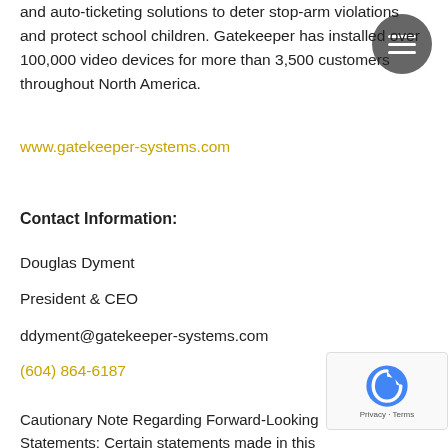and auto-ticketing solutions to deter stop-arm violations and protect school children. Gatekeeper has installed over 100,000 video devices for more than 3,500 customers throughout North America.
www.gatekeeper-systems.com
Contact Information:
Douglas Dyment
President & CEO
ddyment@gatekeeper-systems.com
(604) 864-6187
Cautionary Note Regarding Forward-Looking Statements: Certain statements made in this pres...